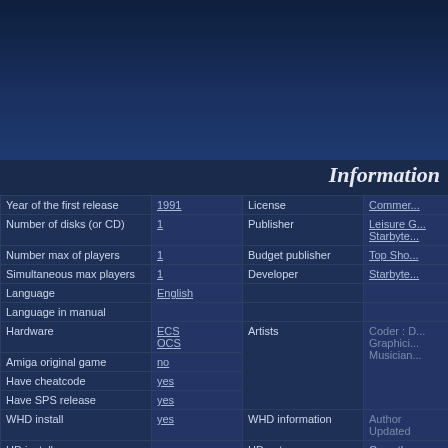[Figure (other): Dark blue header banner area at the top of the page]
Information
| Label | Value | Label2 | Value2 |
| --- | --- | --- | --- |
| Year of the first release | 1991 | License | Commer... |
| Number of disks (or CD) | 1 | Publisher | Leisure G... Starbyte... |
| Number max of players | 1 | Budget publisher | Top Sho... |
| Simultaneous max players | 1 | Developer | Starbyte... |
| Language | English |  |  |
| Language in manual |  |  |  |
| Hardware | ECS OCS | Artists | Coder : D... Graphici... Musician... |
| Amiga original game | no |  |  |
| Have cheatcode | yes |  |  |
| Have SPS release | yes |  |  |
| WHD install | yes | WHD information | Author Updated |
| HD install | yes | HD notes | Copy the... |
| Genre |  | Conversion hardware | Atari ST Commod... PC (DOS... |
| Category | Puzzler | Conversion notes | PC vers... |